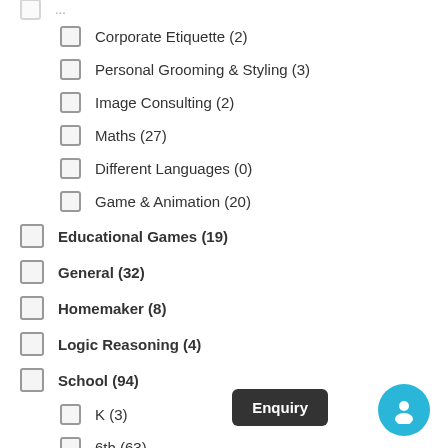Corporate Etiquette (2)
Personal Grooming & Styling (3)
Image Consulting (2)
Maths (27)
Different Languages (0)
Game & Animation (20)
Educational Games (19)
General (32)
Homemaker (8)
Logic Reasoning (4)
School (94)
K (3)
6th (63)